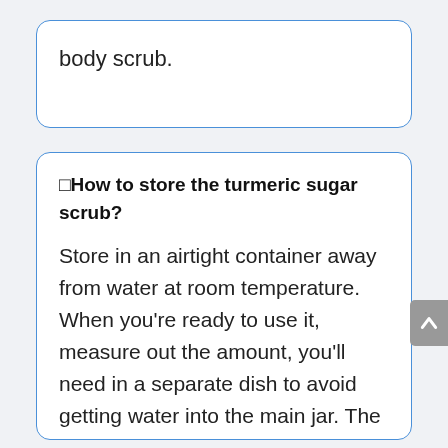body scrub.
🔲How to store the turmeric sugar scrub?
Store in an airtight container away from water at room temperature. When you're ready to use it, measure out the amount, you'll need in a separate dish to avoid getting water into the main jar. The reason for this is that water promotes the development of bacteria. The good part is that you can store this for a long time, but perhaps you'll be able to finish it in two months.